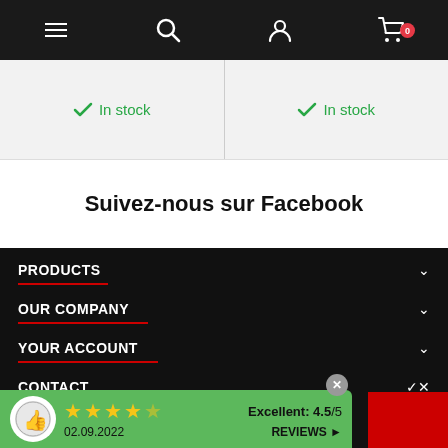Navigation bar with menu, search, account, and cart (0) icons
[Figure (screenshot): Product listing strip showing two products both labeled 'In stock' with green checkmarks]
Suivez-nous sur Facebook
PRODUCTS
OUR COMPANY
YOUR ACCOUNT
CONTACT
[Figure (infographic): Customer review badge showing 4.5/5 stars, Excellent: 4.5/5, date 02.09.2022, REVIEWS link]